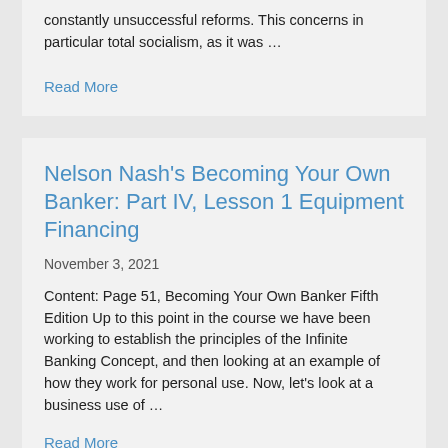constantly unsuccessful reforms. This concerns in particular total socialism, as it was …
Read More
Nelson Nash's Becoming Your Own Banker: Part IV, Lesson 1 Equipment Financing
November 3, 2021
Content: Page 51, Becoming Your Own Banker Fifth Edition Up to this point in the course we have been working to establish the principles of the Infinite Banking Concept, and then looking at an example of how they work for personal use. Now, let's look at a business use of …
Read More